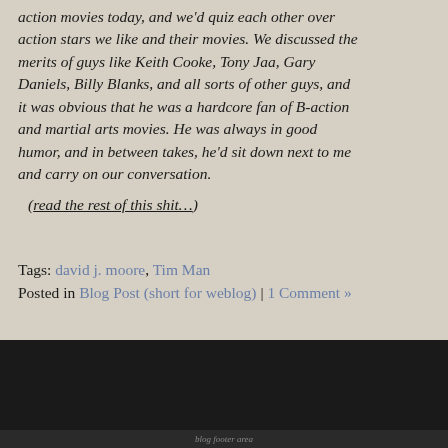action movies today, and we'd quiz each other over action stars we like and their movies. We discussed the merits of guys like Keith Cooke, Tony Jaa, Gary Daniels, Billy Blanks, and all sorts of other guys, and it was obvious that he was a hardcore fan of B-action and martial arts movies. He was always in good humor, and in between takes, he'd sit down next to me and carry on our conversation.
(read the rest of this shit…)
Tags: david j. moore, Tim Man
Posted in Blog Post (short for weblog) | 1 Comment »